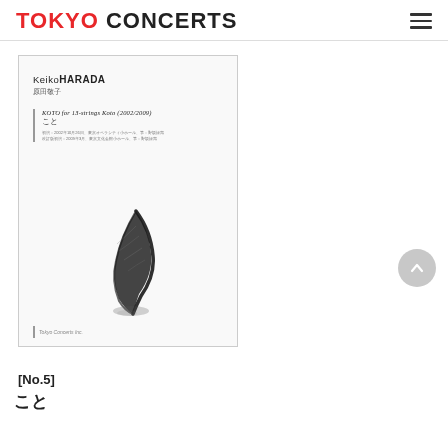TOKYO CONCERTS
[Figure (photo): Book cover of 'KOTO for 13-strings Koto (2002/2009)' by Keiko HARADA, published by Tokyo Concerts Inc. White cover with Japanese calligraphy feather/brush stroke design in black ink.]
[No.5]
こと